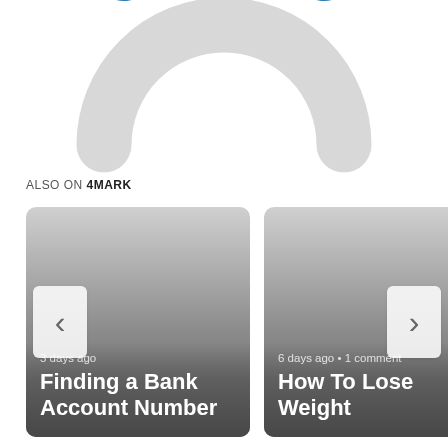[Figure (logo): 4MARK logo — blue arc shape on top with a light gray reflected arc below it, shown cropped at the top of the page]
ALSO ON 4MARK
[Figure (screenshot): Card widget showing two article cards with navigation arrows. Left card: '3 days ago' / 'Finding a Bank Account Number'. Right card: '6 days ago • 1 comment' / 'How To Lose Weight'.]